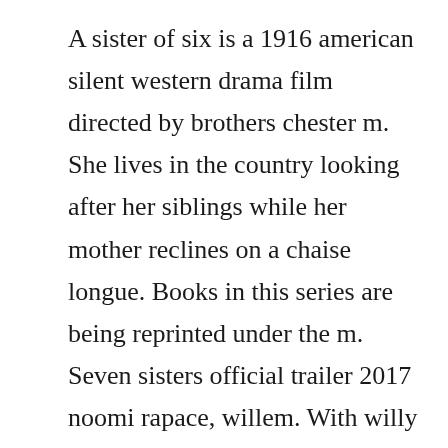A sister of six is a 1916 american silent western drama film directed by brothers chester m. She lives in the country looking after her siblings while her mother reclines on a chaise longue. Books in this series are being reprinted under the m. Seven sisters official trailer 2017 noomi rapace, willem. With willy fritsch, betty balfour, annalisa ryding, lydia potechina. The eztv torrent magnet and subtitles for tvseries and tvshows. The emperor is our father and our guardian, but we must also guard the emperor. Meanwhile, a